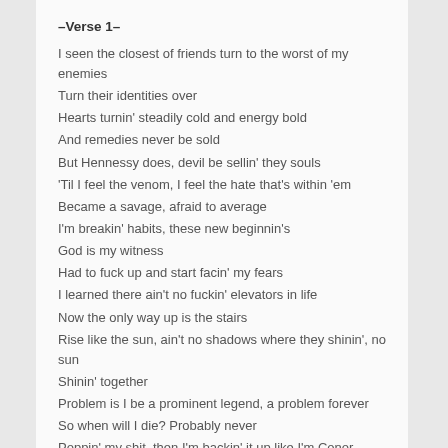–Verse 1–
I seen the closest of friends turn to the worst of my enemies
Turn their identities over
Hearts turnin' steadily cold and energy bold
And remedies never be sold
But Hennessy does, devil be sellin' they souls
'Til I feel the venom, I feel the hate that's within 'em
Became a savage, afraid to average
I'm breakin' habits, these new beginnin's
God is my witness
Had to fuck up and start facin' my fears
I learned there ain't no fuckin' elevators in life
Now the only way up is the stairs
Rise like the sun, ain't no shadows where they shinin', no sun
Shinin' together
Problem is I be a prominent legend, a problem forever
So when will I die? Probably never
Poppin' my shit, then I'm backin' it up like I'm Conor